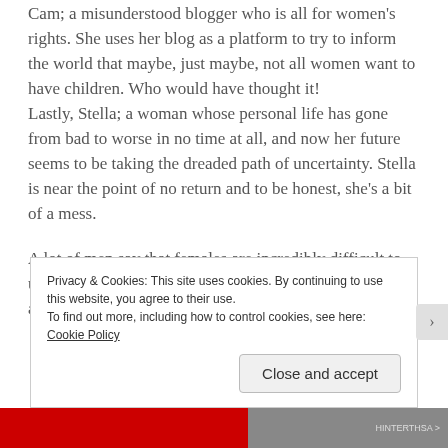Cam; a misunderstood blogger who is all for women's rights. She uses her blog as a platform to try to inform the world that maybe, just maybe, not all women want to have children. Who would have thought it! Lastly, Stella; a woman whose personal life has gone from bad to worse in no time at all, and now her future seems to be taking the dreaded path of uncertainty. Stella is near the point of no return and to be honest, she's a bit of a mess.
A lot of men say that females are incredibly difficult to understand. Maybe we are, but seeing as both genders are built-in completely different ways, it doesn't take a
Privacy & Cookies: This site uses cookies. By continuing to use this website, you agree to their use.
To find out more, including how to control cookies, see here: Cookie Policy
Close and accept